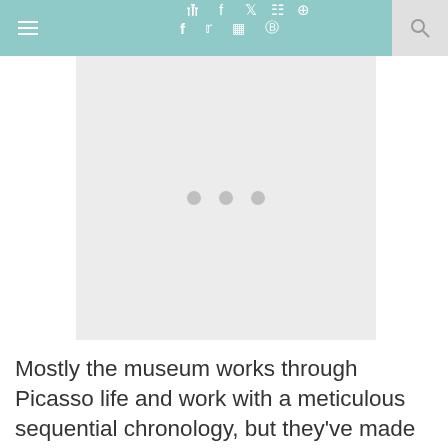≡ f 𝕏 ☷ ⊕ 🔍
[Figure (photo): Image placeholder with three dots centered, light gray background, representing a loading or placeholder image area]
Mostly the museum works through Picasso life and work with a meticulous sequential chronology, but they've made an effort to show works by cartoonists who mocked Picasso's style, to present some of the